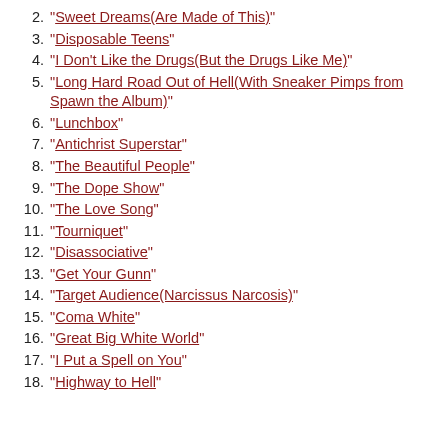2. "Sweet Dreams(Are Made of This)"
3. "Disposable Teens"
4. "I Don't Like the Drugs(But the Drugs Like Me)"
5. "Long Hard Road Out of Hell(With Sneaker Pimps from Spawn the Album)"
6. "Lunchbox"
7. "Antichrist Superstar"
8. "The Beautiful People"
9. "The Dope Show"
10. "The Love Song"
11. "Tourniquet"
12. "Disassociative"
13. "Get Your Gunn"
14. "Target Audience(Narcissus Narcosis)"
15. "Coma White"
16. "Great Big White World"
17. "I Put a Spell on You"
18. "Highway to Hell"